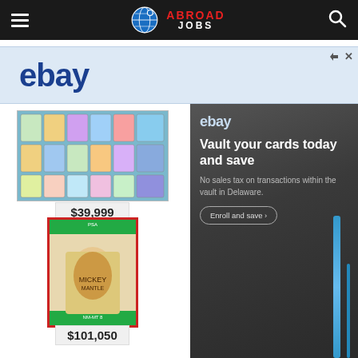Abroad Jobs
[Figure (screenshot): eBay advertisement banner with light blue background showing eBay logo in dark blue]
[Figure (photo): Pokemon card collection grid image priced at $39,999]
$39,999
[Figure (photo): Graded baseball card in PSA holder priced at $101,050]
$101,050
[Figure (photo): Two graded Pokemon cards side by side]
[Figure (advertisement): eBay Vault advertisement: Vault your cards today and save. No sales tax on transactions within the vault in Delaware. Enroll and save button.]